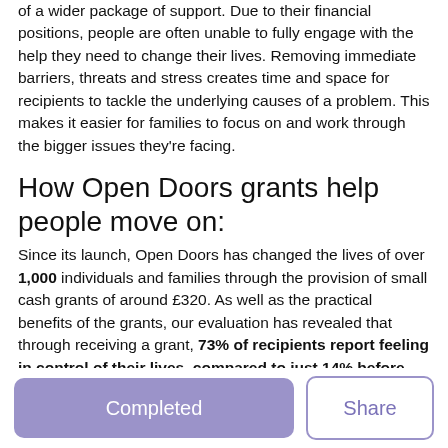of a wider package of support. Due to their financial positions, people are often unable to fully engage with the help they need to change their lives. Removing immediate barriers, threats and stress creates time and space for recipients to tackle the underlying causes of a problem. This makes it easier for families to focus on and work through the bigger issues they're facing.
How Open Doors grants help people move on:
Since its launch, Open Doors has changed the lives of over 1,000 individuals and families through the provision of small cash grants of around £320. As well as the practical benefits of the grants, our evaluation has revealed that through receiving a grant, 73% of recipients report feeling in control of their lives, compared to just 14% before receiving the grant. Being given some responsibility in their